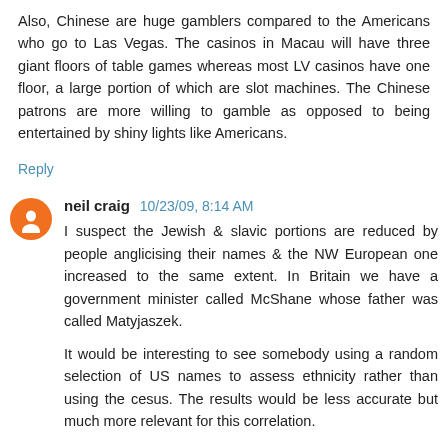Also, Chinese are huge gamblers compared to the Americans who go to Las Vegas. The casinos in Macau will have three giant floors of table games whereas most LV casinos have one floor, a large portion of which are slot machines. The Chinese patrons are more willing to gamble as opposed to being entertained by shiny lights like Americans.
Reply
neil craig  10/23/09, 8:14 AM
I suspect the Jewish & slavic portions are reduced by people anglicising their names & the NW European one increased to the same extent. In Britain we have a government minister called McShane whose father was called Matyjaszek.
It would be interesting to see somebody using a random selection of US names to assess ethnicity rather than using the cesus. The results would be less accurate but much more relevant for this correlation.